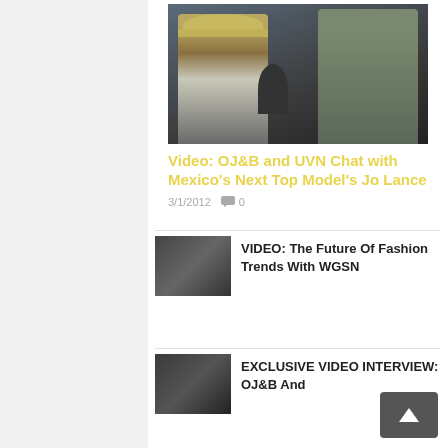[Figure (photo): Two men facing each other during an interview, one wearing a straw hat and floral jacket, the other in a grey suit with red bow tie and glasses, with a microphone between them]
Video: OJ&B and UVN Chat with Mexico's Next Top Model's Jo Lance
3/1/2012   0
[Figure (photo): Small thumbnail of two men in conversation]
VIDEO: The Future Of Fashion Trends With WGSN
[Figure (photo): Small thumbnail of men in interview setting]
EXCLUSIVE VIDEO INTERVIEW: OJ&B And